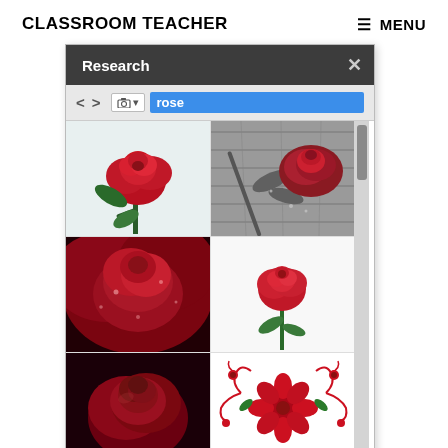CLASSROOM TEACHER   ≡ MENU
[Figure (screenshot): Research panel showing image search results for 'rose' — a dark toolbar with back/forward navigation, a camera icon, and a blue highlighted search field with the word 'rose'. Below are six rose photos in a 2-column grid: top-left is a close-up red rose on light background; top-right is a black-and-white photo of a rose on wooden planks with a red rose; middle-left is a dark close-up macro of red rose petals with water droplets; middle-right is a single red rose on white background; bottom-left is a dark red rose bud; bottom-right is a decorative red floral illustration. A vertical scrollbar is on the right.]